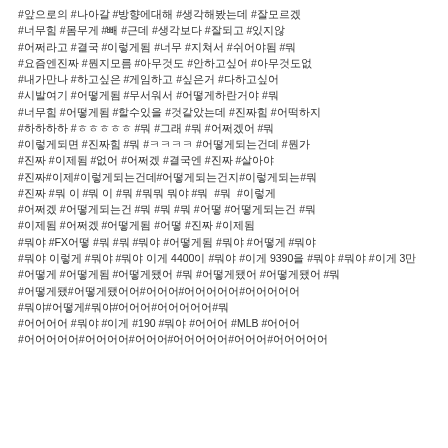#앞으로의 #나아갈 #방향에대해 #생각해봤는데 #잘모르겠
#너무힘 #몸무게 #빼 #근데 #생각보다 #잘되고 #있지않
#어쩌라고 #결국 #이렇게됨 #너무 #지쳐서 #쉬어야됨 #뭐
#요즘엔진짜 #뭔지모름 #아무것도 #안하고싶어 #아무것도없
#내가만나 #하고싶은 #게임하고 #싶은거 #다하고싶어
#시발여기 #어떻게됨 #무서워서 #어떻게하란거야 #뭐
#너무힘 #어떻게됨 #할수있을 #것같았는데 #진짜힘 #어떡하지
#하하하하 #ㅎㅎㅎㅎㅎ #뭐 #그래 #뭐 #어쩌겠어 #뭐
#이렇게되면 #진짜힘 #뭐 #ㅋㅋㅋㅋ #어떻게되는건데 #뭔가
#진짜 #이제됨 #없어 #어쩌겠 #결국엔 #진짜 #살아야
#진짜#이제#이렇게되는건데#어떻게되는건지#이렇게되는#뭐
#진짜 #뭐 이 #뭐 이 #뭐 #뭐뭐 뭐야 #뭐  #뭐  #이렇게
#어쩌겠 #어떻게되는건 #뭐 #뭐 #뭐 #어떻 #어떻게되는건 #뭐
#이제됨 #어쩌겠 #어떻게됨 #어떻 #진짜 #이제됨
#뭐야 #FX어떻 #뭐 #뭐 #뭐야 #어떻게됨 #뭐야 #어떻게 #뭐야
#뭐야 이렇게 #뭐야 #뭐야 이게 4400이 #뭐야 #이게 9390을 #뭐야 #뭐야 #이게 3만
#어떻게 #어떻게됨 #어떻게됐어 #뭐 #어떻게됐어 #어떻게됐어 #뭐
#어떻게됐#어떻게됐어어#어어어#어어어어어#어어어어어
#뭐야#어떻게#뭐야#어어어#어어어어어#뭐
#어어어어 #뭐야 #이게 #190 #뭐야 #어어어 #MLB #어어어
#어어어어어#어어어어#어어어#어어어어어#어어어#어어어어어